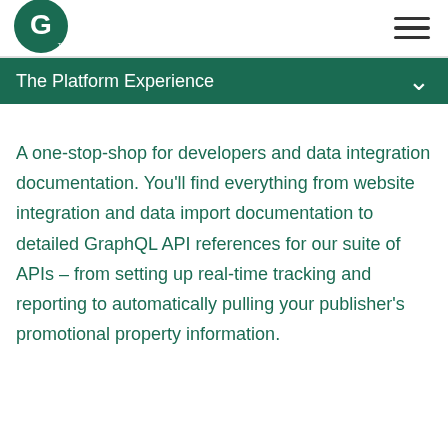[Figure (logo): CJ affiliate network logo — white G letter in a dark green circle, with TM mark]
The Platform Experience
A one-stop-shop for developers and data integration documentation. You'll find everything from website integration and data import documentation to detailed GraphQL API references for our suite of APIs – from setting up real-time tracking and reporting to automatically pulling your publisher's promotional property information.